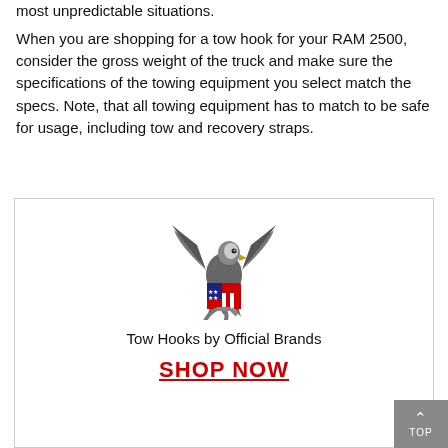most unpredictable situations.
When you are shopping for a tow hook for your RAM 2500, consider the gross weight of the truck and make sure the specifications of the towing equipment you select match the specs. Note, that all towing equipment has to match to be safe for usage, including tow and recovery straps.
[Figure (illustration): An eagle clutching a tow hook with an American flag shield, logo for a towing brand]
Tow Hooks by Official Brands
SHOP NOW